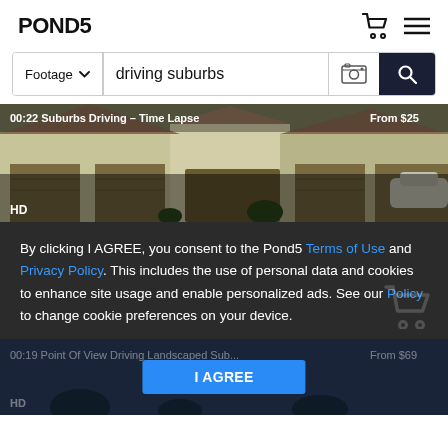POND5
[Figure (screenshot): Search bar with 'Footage' dropdown, 'driving suburbs' text input, image search icon, and dark search button with magnifying glass icon]
[Figure (photo): Video thumbnail showing suburban houses with garage doors, labeled '00:22 Suburbs Driving - Time Lapse  From $25  HD']
By clicking I AGREE, you consent to the Pond5 Terms of Use and Privacy Policy. This includes the use of personal data and cookies to enhance site usage and enable personalized ads. See our Policy to change cookie preferences on your device.
[Figure (screenshot): Bottom video thumbnail showing '00:19 Point Of View Driving Landscaped Sub... From $69 HD' with I AGREE button overlay]